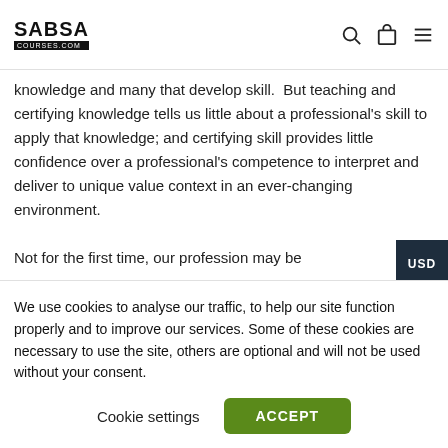SABSA COURSES.COM
knowledge and many that develop skill.  But teaching and certifying knowledge tells us little about a professional's skill to apply that knowledge; and certifying skill provides little confidence over a professional's competence to interpret and deliver to unique value context in an ever-changing environment.

Not for the first time, our profession may be
We use cookies to analyse our traffic, to help our site function properly and to improve our services. Some of these cookies are necessary to use the site, others are optional and will not be used without your consent.